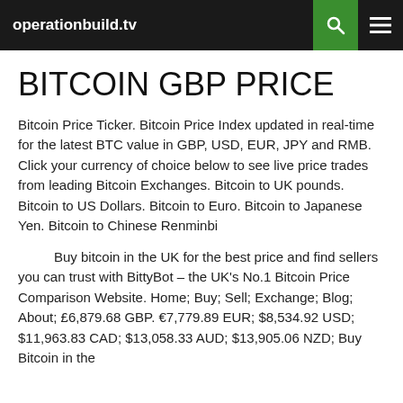operationbuild.tv
BITCOIN GBP PRICE
Bitcoin Price Ticker. Bitcoin Price Index updated in real-time for the latest BTC value in GBP, USD, EUR, JPY and RMB. Click your currency of choice below to see live price trades from leading Bitcoin Exchanges. Bitcoin to UK pounds. Bitcoin to US Dollars. Bitcoin to Euro. Bitcoin to Japanese Yen. Bitcoin to Chinese Renminbi
Buy bitcoin in the UK for the best price and find sellers you can trust with BittyBot – the UK's No.1 Bitcoin Price Comparison Website. Home; Buy; Sell; Exchange; Blog; About; £6,879.68 GBP. €7,779.89 EUR; $8,534.92 USD; $11,963.83 CAD; $13,058.33 AUD; $13,905.06 NZD; Buy Bitcoin in the